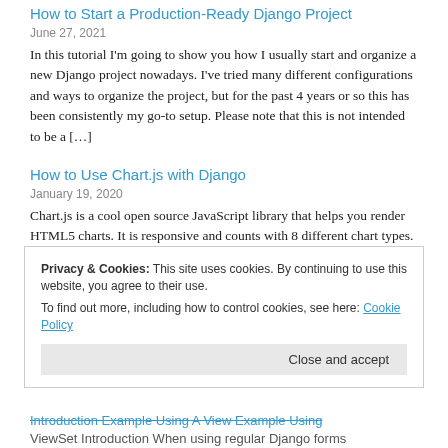How to Start a Production-Ready Django Project
June 27, 2021
In this tutorial I'm going to show you how I usually start and organize a new Django project nowadays. I've tried many different configurations and ways to organize the project, but for the past 4 years or so this has been consistently my go-to setup. Please note that this is not intended to be a […]
How to Use Chart.js with Django
January 19, 2020
Chart.js is a cool open source JavaScript library that helps you render HTML5 charts. It is responsive and counts with 8 different chart types. In this tutorial we are going to explore a little bit of how to make Django talk with Chart.js and render some simple charts based on data extracted from our models. […]
Privacy & Cookies: This site uses cookies. By continuing to use this website, you agree to their use.
To find out more, including how to control cookies, see here: Cookie Policy
Close and accept
Introduction Example Using A View Example Using ViewSet Introduction When using regular Django forms